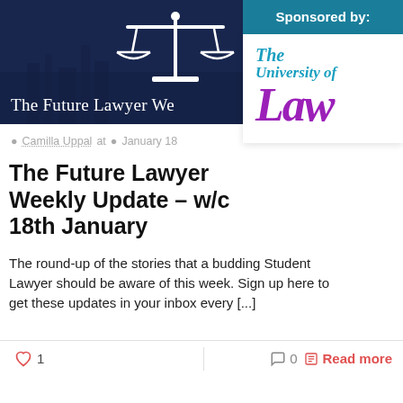[Figure (photo): Dark blue hero banner with scales of justice icon and partial text 'The Future Lawyer We...' overlaid on a city skyline background]
[Figure (logo): Sponsored by: The University of Law logo — teal text with purple 'Law' wordmark]
Camilla Uppal at  January 18
The Future Lawyer Weekly Update – w/c 18th January
The round-up of the stories that a budding Student Lawyer should be aware of this week. Sign up here to get these updates in your inbox every [...]
♡ 1   💬 0   Read more